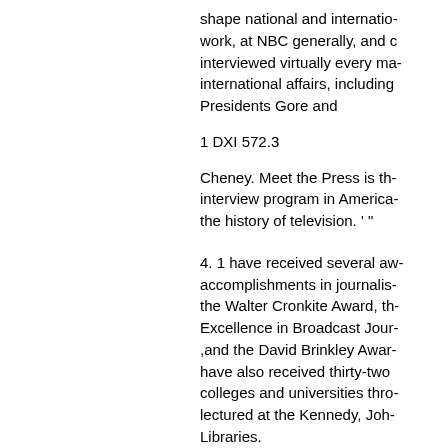shape national and international work, at NBC generally, and interviewed virtually every major international affairs, including Presidents Gore and
1 DXI 572.3
Cheney. Meet the Press is the interview program in America in the history of television. ' "
4. 1 have received several accomplishments in journalism, the Walter Cronkite Award, the Excellence in Broadcast Journalism ,and the David Brinkley Award. have also received thirty-two colleges and universities throughout lectured at the Kennedy, Johnson Libraries.
5. During the course of my ca